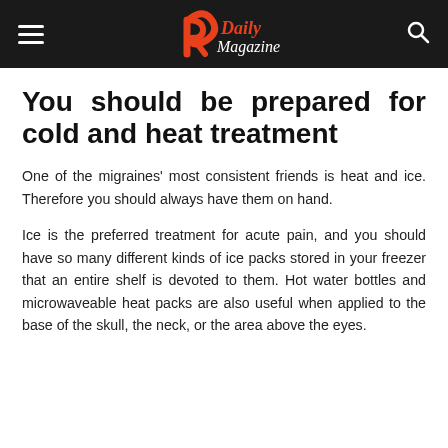R Daily Magazine
You should be prepared for cold and heat treatment
One of the migraines' most consistent friends is heat and ice. Therefore you should always have them on hand.
Ice is the preferred treatment for acute pain, and you should have so many different kinds of ice packs stored in your freezer that an entire shelf is devoted to them. Hot water bottles and microwaveable heat packs are also useful when applied to the base of the skull, the neck, or the area above the eyes.